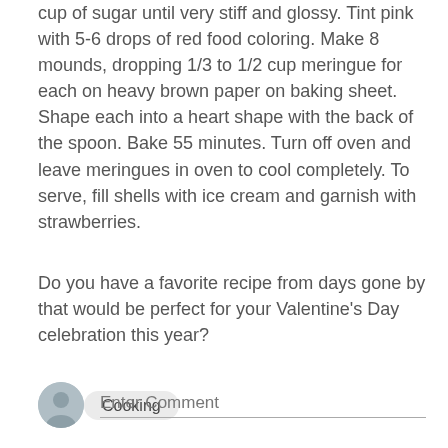cup of sugar until very stiff and glossy. Tint pink with 5-6 drops of red food coloring. Make 8 mounds, dropping 1/3 to 1/2 cup meringue for each on heavy brown paper on baking sheet. Shape each into a heart shape with the back of the spoon. Bake 55 minutes. Turn off oven and leave meringues in oven to cool completely. To serve, fill shells with ice cream and garnish with strawberries.
Do you have a favorite recipe from days gone by that would be perfect for your Valentine's Day celebration this year?
[Figure (other): Share icon (network share symbol)]
Cooking
[Figure (other): User avatar placeholder icon (grey circle with silhouette)]
Enter Comment